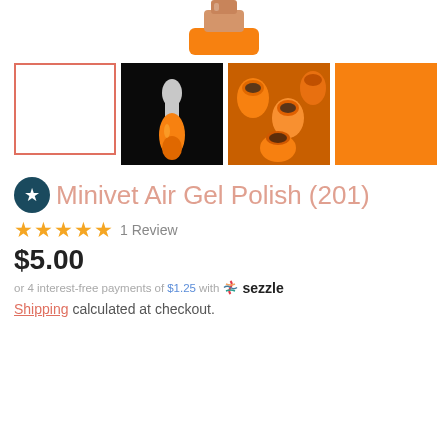[Figure (photo): Top of an orange nail polish bottle, cropped at top of page]
[Figure (photo): Thumbnail: selected/empty white box with salmon border (currently selected main image placeholder)]
[Figure (photo): Thumbnail: close-up of orange gel polish brush applicator on dark background]
[Figure (photo): Thumbnail: close-up of multiple orange gel polish bottle caps]
[Figure (photo): Thumbnail: solid orange color swatch]
Minivet Air Gel Polish (201)
★★★★★ 1 Review
$5.00
or 4 interest-free payments of $1.25 with sezzle
Shipping calculated at checkout.